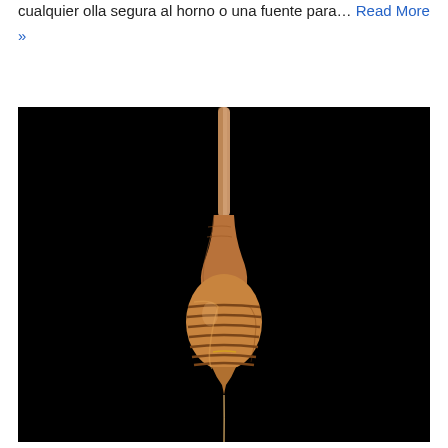cualquier olla segura al horno o una fuente para… Read More »
[Figure (photo): A wooden honey dipper with a ribbed bulbous head, photographed against a solid black background. A thin drip of honey or liquid is visible falling from the tip of the dipper.]